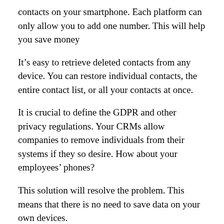contacts on your smartphone. Each platform can only allow you to add one number. This will help you save money
It’s easy to retrieve deleted contacts from any device. You can restore individual contacts, the entire contact list, or all your contacts at once.
It is crucial to define the GDPR and other privacy regulations. Your CRMs allow companies to remove individuals from their systems if they so desire. How about your employees’ phones?
This solution will resolve the problem. This means that there is no need to save data on your own devices.
How to get started with Google Contacts or Shared Contacts in Gmail(r).